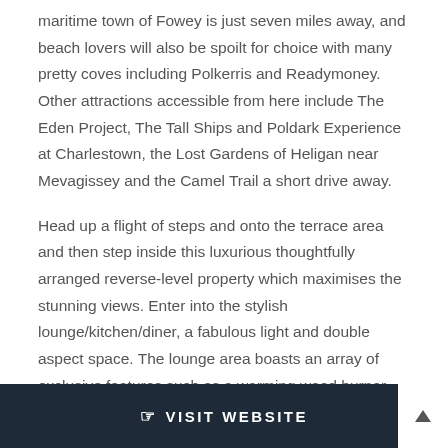maritime town of Fowey is just seven miles away, and beach lovers will also be spoilt for choice with many pretty coves including Polkerris and Readymoney. Other attractions accessible from here include The Eden Project, The Tall Ships and Poldark Experience at Charlestown, the Lost Gardens of Heligan near Mevagissey and the Camel Trail a short drive away.
Head up a flight of steps and onto the terrace area and then step inside this luxurious thoughtfully arranged reverse-level property which maximises the stunning views. Enter into the stylish lounge/kitchen/diner, a fabulous light and double aspect space. The lounge area boasts an array of exclusive features such as a warming wood burner,
VISIT WEBSITE